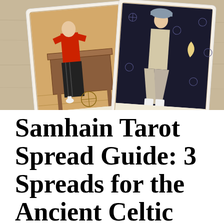[Figure (photo): Two tarot cards photographed on a wooden surface. Left card shows a figure in red and black clothing working at a table with pentacles, partially labeled 'of Pento'. Right card shows a figure in light clothing with white boots on a dark background with snowflake patterns, labeled 'Two of Pentacles'.]
Samhain Tarot Spread Guide: 3 Spreads for the Ancient Celtic Festival